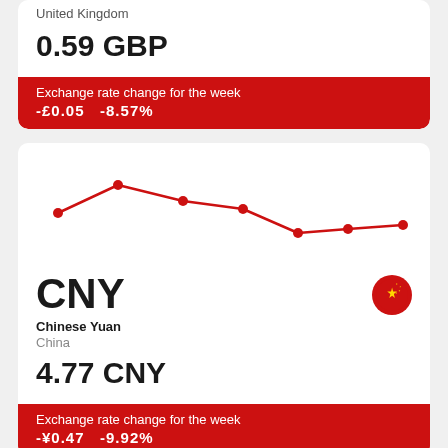British Pound
United Kingdom
0.59 GBP
Exchange rate change for the week
-£0.05   -8.57%
[Figure (line-chart): GBP weekly exchange rate]
CNY
Chinese Yuan
China
4.77 CNY
Exchange rate change for the week
-¥0.47   -9.92%